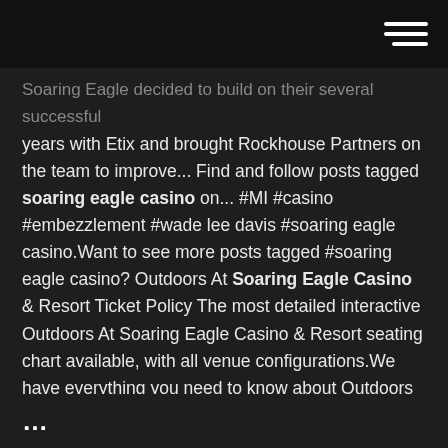[hamburger menu icon]
Soaring Eagle decided to build on their several successful years with Etix and brought Rockhouse Partners on the team to improve... Find and follow posts tagged soaring eagle casino on... #MI #casino #embezzlement #wade lee davis #soaring eagle casino.Want to see more posts tagged #soaring eagle casino? Outdoors At Soaring Eagle Casino & Resort Ticket Policy The most detailed interactive Outdoors At Soaring Eagle Casino & Resort seating chart available, with all venue configurations.We have everything you need to know about Outdoors At Soaring Eagle Casino & Resort from detailed row and seat numbers, to where the best seats are. Soaring Eagle Casino (Mount Pleasant) - 2019 All You... -...
...